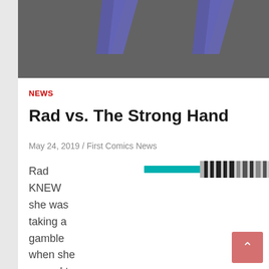[Figure (illustration): Dark gray hero image area with two purple/blue downward-pointing chevron/arrow shapes visible at the top]
NEWS
Rad vs. The Strong Hand
May 24, 2019 / First Comics News
[Figure (photo): Partial comic book image showing a teal/cyan stripe and black and white striped pattern]
Rad KNEW she was taking a gamble when she agreed to go undercover to infiltrate the mysteriou